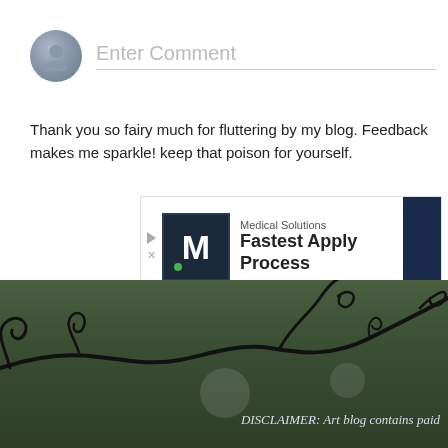Enter Comment
Thank you so fairy much for fluttering by my blog. Feedback makes me sparkle! keep that poison for yourself.
[Figure (screenshot): Advertisement banner for Medical Solutions - Fastest Apply Process]
Newer Post · · · · · · · · · · · · · Home · · · · · ·
Subscribe to: Post Comments ( Atom )
[Figure (illustration): Decorative dark vine/branch illustration at the bottom of the page over a dark green background]
DISCLAIMER: Art blog contains paid